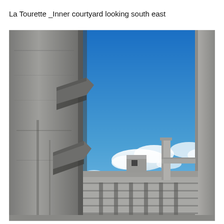La Tourette _Inner courtyard looking south east
[Figure (photo): Photograph of La Tourette monastery inner courtyard looking south east. Shows brutalist raw concrete architecture with projecting wing-like canopies on a tall concrete wall on the left, an open courtyard view to the right with blue sky and white clouds, and concrete building structures including horizontal banded facade and cylindrical column visible in the background.]